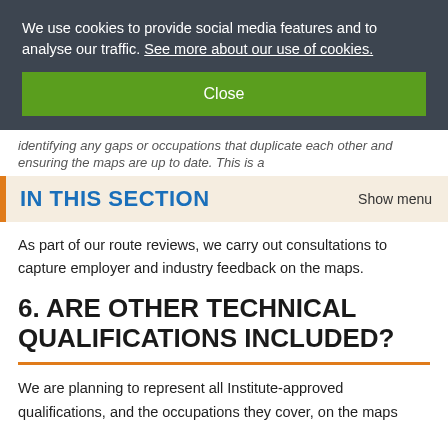We use cookies to provide social media features and to analyse our traffic. See more about our use of cookies.
Close
identifying any gaps or occupations that duplicate each other and ensuring the maps are up to date. This is a
IN THIS SECTION
Show menu
As part of our route reviews, we carry out consultations to capture employer and industry feedback on the maps.
6. ARE OTHER TECHNICAL QUALIFICATIONS INCLUDED?
We are planning to represent all Institute-approved qualifications, and the occupations they cover, on the maps